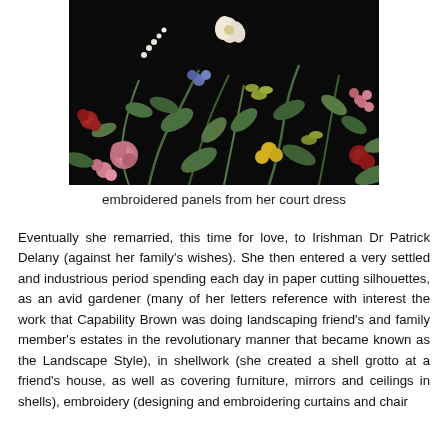[Figure (photo): A close-up photograph of embroidered panels featuring colorful flowers and foliage on a dark/black background. The embroidery shows detailed botanical motifs including roses, tulips, and various wildflowers in pink, red, yellow, white, and multiple shades of green against black fabric.]
embroidered panels from her court dress
Eventually she remarried, this time for love, to Irishman Dr Patrick Delany (against her family's wishes). She then entered a very settled and industrious period spending each day in paper cutting silhouettes, as an avid gardener (many of her letters reference with interest the work that Capability Brown was doing landscaping friend's and family member's estates in the revolutionary manner that became known as the Landscape Style), in shellwork (she created a shell grotto at a friend's house, as well as covering furniture, mirrors and ceilings in shells), embroidery (designing and embroidering curtains and chair